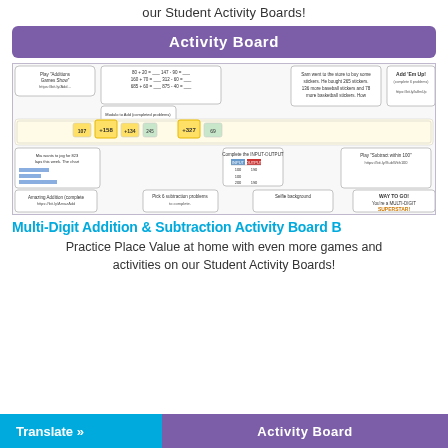our Student Activity Boards!
Activity Board
[Figure (infographic): Multi-Digit Addition & Subtraction Activity Board B — a detailed student activity board with multiple math games, problems, number lines, input/output tables, bar graphs, and activity instructions arranged in a grid layout. Includes links to online games and tools for practicing multi-digit addition and subtraction.]
Multi-Digit Addition & Subtraction Activity Board B
Practice Place Value at home with even more games and activities on our Student Activity Boards!
Activity Board
Translate »